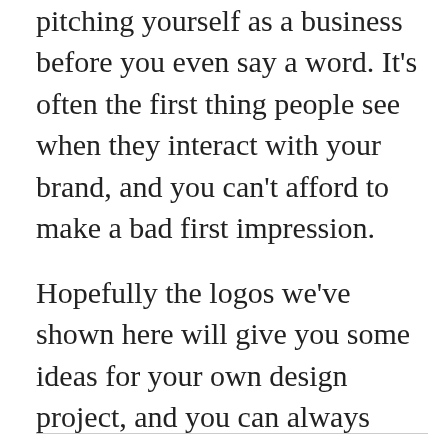A great digital marketing logo is the key to pitching yourself as a business before you even say a word. It's often the first thing people see when they interact with your brand, and you can't afford to make a bad first impression.
Hopefully the logos we've shown here will give you some ideas for your own design project, and you can always count on a great designer to take those ideas to the next level. Once you have a strong logo, there'll be nothing to stop you from carrying other brands to their own success.